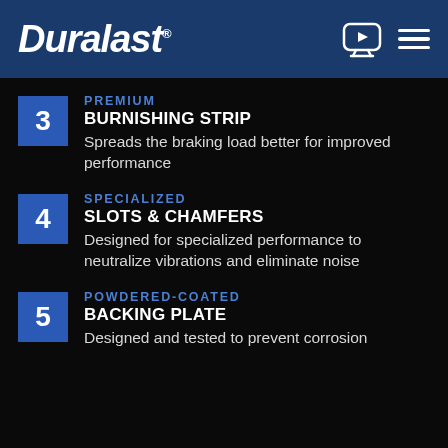Duralast
3 PREMIUM BURNISHING STRIP — Spreads the braking load better for improved performance
4 SPECIALIZED SLOTS & CHAMFERS — Designed for specialized performance to neutralize vibrations and eliminate noise
5 POWDERED-COATED BACKING PLATE — Designed and tested to prevent corrosion